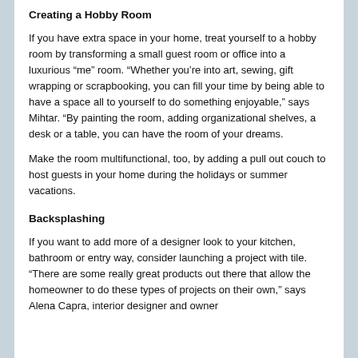Creating a Hobby Room
If you have extra space in your home, treat yourself to a hobby room by transforming a small guest room or office into a luxurious “me” room. “Whether you’re into art, sewing, gift wrapping or scrapbooking, you can fill your time by being able to have a space all to yourself to do something enjoyable,” says Mihtar. “By painting the room, adding organizational shelves, a desk or a table, you can have the room of your dreams.
Make the room multifunctional, too, by adding a pull out couch to host guests in your home during the holidays or summer vacations.
Backsplashing
If you want to add more of a designer look to your kitchen, bathroom or entry way, consider launching a project with tile. “There are some really great products out there that allow the homeowner to do these types of projects on their own,” says Alena Capra, interior designer and owner